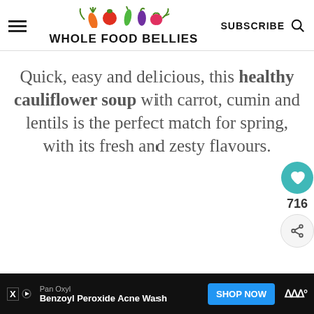WHOLE FOOD BELLIES — SUBSCRIBE
Quick, easy and delicious, this healthy cauliflower soup with carrot, cumin and lentils is the perfect match for spring, with its fresh and zesty flavours.
[Figure (photo): Photo of cauliflower soup in a bowl with bread and herbs]
716
WHAT'S NEXT → Quick and Easy Lemon...
[Figure (screenshot): Advertisement: Pan Oxyl Benzoyl Peroxide Acne Wash — SHOP NOW button]